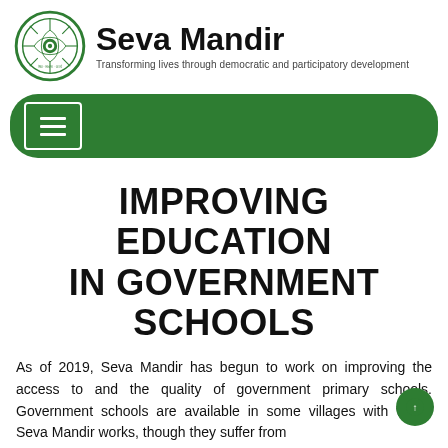[Figure (logo): Seva Mandir circular logo in green with a lotus flower and Hindi text, and the organization name 'Seva Mandir' with tagline 'Transforming lives through democratic and participatory development']
[Figure (other): Green rounded navigation bar with a white-bordered hamburger menu icon]
IMPROVING EDUCATION IN GOVERNMENT SCHOOLS
As of 2019, Seva Mandir has begun to work on improving the access to and the quality of government primary schools. Government schools are available in some villages with which Seva Mandir works, though they suffer from